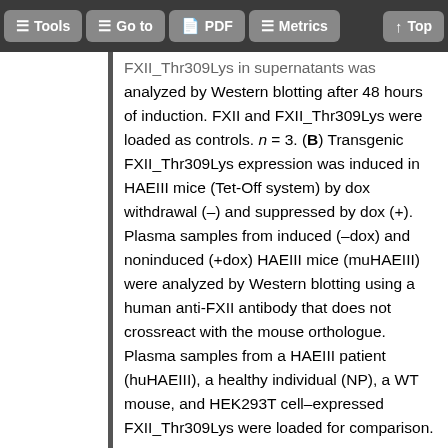Tools | Go to | PDF | Metrics | Top
FXII_Thr309Lys in supernatants was analyzed by Western blotting after 48 hours of induction. FXII and FXII_Thr309Lys were loaded as controls. n = 3. (B) Transgenic FXII_Thr309Lys expression was induced in HAEIII mice (Tet-Off system) by dox withdrawal (–) and suppressed by dox (+). Plasma samples from induced (–dox) and noninduced (+dox) HAEIII mice (muHAEIII) were analyzed by Western blotting using a human anti-FXII antibody that does not crossreact with the mouse orthologue. Plasma samples from a HAEIII patient (huHAEIII), a healthy individual (NP), a WT mouse, and HEK293T cell–expressed FXII_Thr309Lys were loaded for comparison.